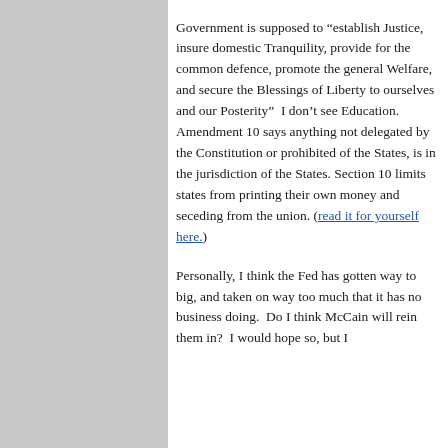Government is supposed to “establish Justice, insure domestic Tranquility, provide for the common defence, promote the general Welfare, and secure the Blessings of Liberty to ourselves and our Posterity”  I don’t see Education. Amendment 10 says anything not delegated by the Constitution or prohibited of the States, is in the jurisdiction of the States. Section 10 limits states from printing their own money and seceding from the union. (read it for yourself here.)
Personally, I think the Fed has gotten way to big, and taken on way too much that it has no business doing.  Do I think McCain will rein them in?  I would hope so, but I